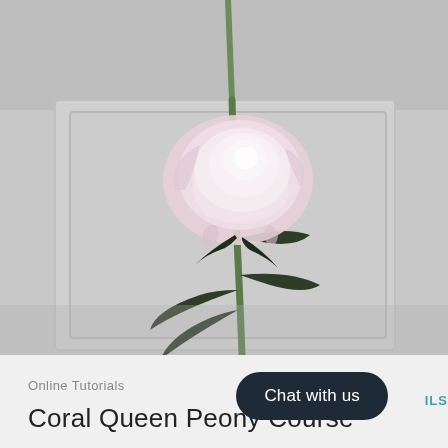[Figure (photo): A light pink peony flower on a green stem with dark leaves, photographed against a light grey wall with a white panel frame visible. A green stem extends into the top of the frame.]
Online Tutorials
Coral Queen Peony Course
Chat with us
ILS